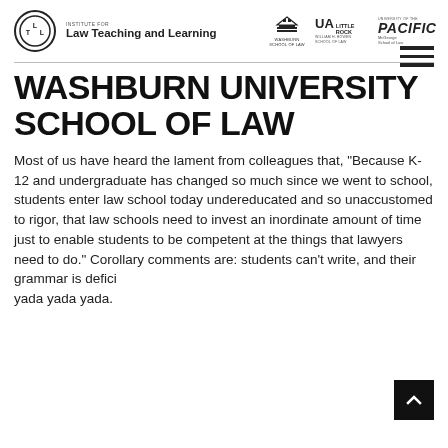[Figure (logo): Institute for Law Teaching and Learning logo with circular emblem and text]
[Figure (logo): Washburn School of Law logo]
[Figure (logo): UA Little Rock William H. Bowen School of Law logo]
[Figure (logo): University of the Pacific McGeorge School of Law logo]
WASHBURN UNIVERSITY SCHOOL OF LAW
Most of us have heard the lament from colleagues that, "Because K-12 and undergraduate has changed so much since we went to school, students enter law school today undereducated and so unaccustomed to rigor, that law schools need to invest an inordinate amount of time just to enable students to be competent at the things that lawyers need to do." Corollary comments are: students can't write, and their grammar is deficient, yada yada yada.